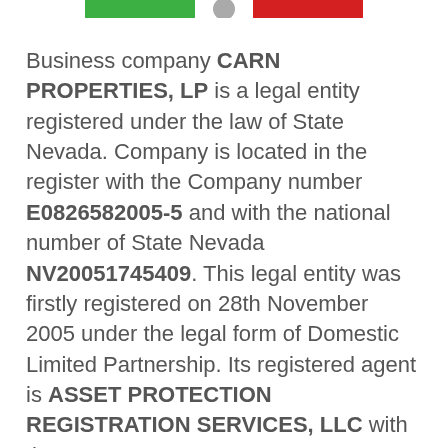[Figure (other): Two colored horizontal bars: one green and one red, partially visible at the top of the page, with a small circular element between them.]
Business company CARN PROPERTIES, LP is a legal entity registered under the law of State Nevada. Company is located in the register with the Company number E0826582005-5 and with the national number of State Nevada NV20051745409. This legal entity was firstly registered on 28th November 2005 under the legal form of Domestic Limited Partnership. Its registered agent is ASSET PROTECTION REGISTRATION SERVICES, LLC with the seat at 6172 KATELLA AVE, LAS VEGAS, 89118, NV licensed as Commercial Registered Agent - Limited-Liability Corporation. Current company's